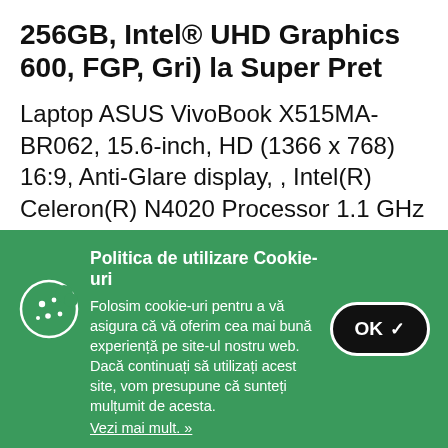256GB, Intel® UHD Graphics 600, FGP, Gri) la Super Pret
Laptop ASUS VivoBook X515MA-BR062, 15.6-inch, HD (1366 x 768) 16:9, Anti-Glare display, , Intel(R) Celeron(R) N4020 Processor 1.1 GHz (4M Cache, up to 2.8 GHz, 2 cores), Intel(R) UHD Graphics...
Politica de utilizare Cookie-uri
Folosim cookie-uri pentru a vă asigura că vă oferim cea mai bună experiență pe site-ul nostru web. Dacă continuați să utilizați acest site, vom presupune că sunteți mulțumit de acesta.
Vezi mai mult. »